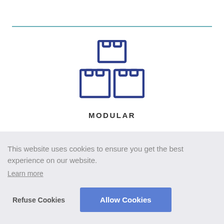[Figure (illustration): A modular building blocks / LEGO-style icon rendered in dark blue outline style, showing three interlocking brick pieces stacked in a pyramid arrangement.]
MODULAR
This website uses cookies to ensure you get the best experience on our website.
Learn more
Refuse Cookies
Allow Cookies